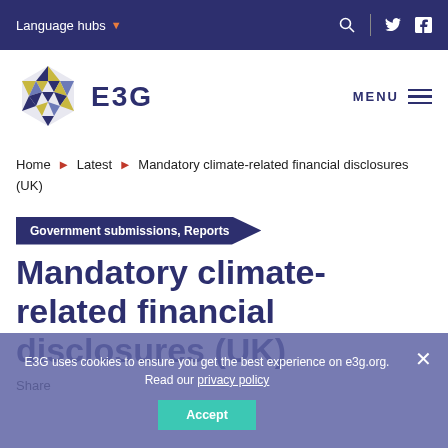Language hubs
[Figure (logo): E3G hexagonal logo with triangular geometric pattern in blue, yellow, and olive colors, followed by text 'E3G']
Home ► Latest ► Mandatory climate-related financial disclosures (UK)
Government submissions, Reports
Mandatory climate-related financial disclosures (UK)
Share
E3G uses cookies to ensure you get the best experience on e3g.org. Read our privacy policy